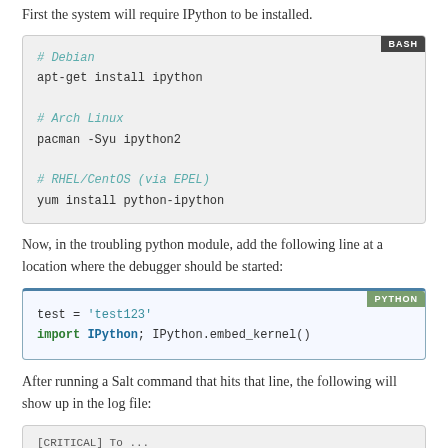First the system will require IPython to be installed.
# Debian
apt-get install ipython

# Arch Linux
pacman -Syu ipython2

# RHEL/CentOS (via EPEL)
yum install python-ipython
Now, in the troubling python module, add the following line at a location where the debugger should be started:
test = 'test123'
import IPython; IPython.embed_kernel()
After running a Salt command that hits that line, the following will show up in the log file:
[CRITICAL] To ...